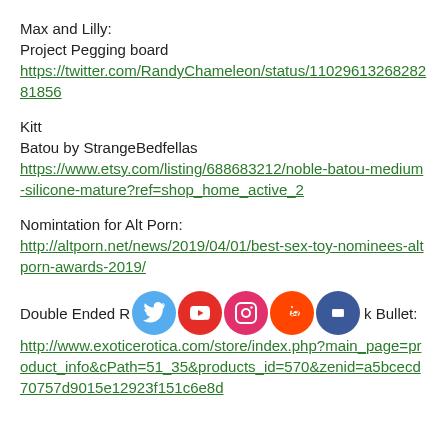Max and Lilly:
Project Pegging board
https://twitter.com/RandyChameleon/status/1102961326828281856
Kitt
Batou by StrangeBedfellas
https://www.etsy.com/listing/688683212/noble-batou-medium-silicone-mature?ref=shop_home_active_2
Nomintation for Alt Porn:
http://altporn.net/news/2019/04/01/best-sex-toy-nominees-altporn-awards-2019/
Double Ended Rabbit Bullet:
http://www.exoticerotica.com/store/index.php?main_page=product_info&cPath=51_35&products_id=570&zenid=a5bcecd70757d9015e12923f151c6e8d